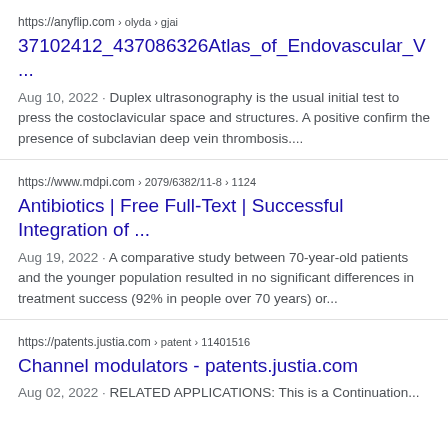https://anyflip.com › olyda › gjai
37102412_437086326Atlas_of_Endovascular_V...
Aug 10, 2022 · Duplex ultrasonography is the usual initial test to press the costoclavicular space and structures. A positive confirm the presence of subclavian deep vein thrombosis....
https://www.mdpi.com › 2079/6382/11-8 › 1124
Antibiotics | Free Full-Text | Successful Integration of ...
Aug 19, 2022 · A comparative study between 70-year-old patients and the younger population resulted in no significant differences in treatment success (92% in people over 70 years) or...
https://patents.justia.com › patent › 11401516
Channel modulators - patents.justia.com
Aug 02, 2022 · RELATED APPLICATIONS: This is a Continuation...